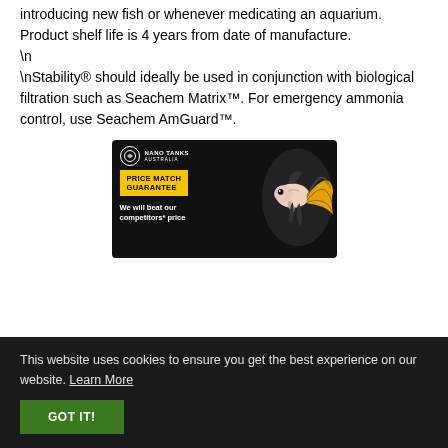introducing new fish or whenever medicating an aquarium. Product shelf life is 4 years from date of manufacture.

\nStability® should ideally be used in conjunction with biological filtration such as Seachem Matrix™. For emergency ammonia control, use Seachem AmGuard™.
[Figure (illustration): Nano Tanks Australia advertisement banner showing a betta fish and 'Price Match Guarantee - We will beat our competitors* price' text on dark background with yellow banner.]
This website uses cookies to ensure you get the best experience on our website. Learn More
GOT IT!